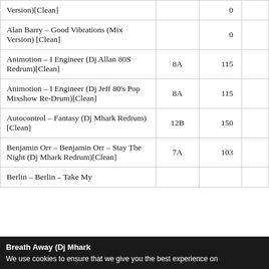| Title | Key | BPM |  |
| --- | --- | --- | --- |
| … – … (… Version)[Clean] |  | 0 |  |
| Alan Barry – Good Vibrations (Mix Version) [Clean] |  | 0 |  |
| Animotion – I Engineer (Dj Allan 80S Redrum)[Clean] | 8A | 115 |  |
| Animotion – I Engineer (Dj Jeff 80's Pop Mixshow Re-Drum)[Clean] | 8A | 115 |  |
| Autocontrol – Fantasy (Dj Mhark Redrum)[Clean] | 12B | 150 |  |
| Benjamin Orr – Benjamin Orr – Stay The Night (Dj Mhark Redrum)[Clean] | 7A | 103 |  |
| Berlin – Berlin – Take My Breath Away (Dj Mhark… |  |  |  |
We use cookies to ensure that we give you the best experience on